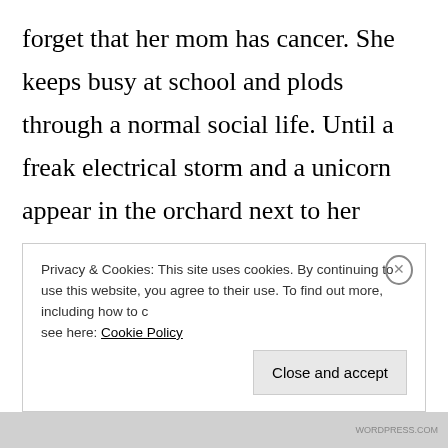forget that her mom has cancer. She keeps busy at school and plods through a normal social life. Until a freak electrical storm and a unicorn appear in the orchard next to her house. Sy'kai wakes …
Continue reading →
Privacy & Cookies: This site uses cookies. By continuing to use this website, you agree to their use. To find out more, including how to control cookies, see here: Cookie Policy
Close and accept